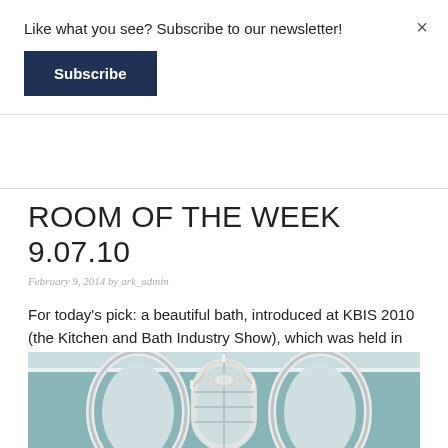Like what you see? Subscribe to our newsletter!
Subscribe
×
ROOM OF THE WEEK 9.07.10
February 9, 2014 by ark_admin
For today's pick: a beautiful bath, introduced at KBIS 2010 (the Kitchen and Bath Industry Show), which was held in Chicago.
[Figure (photo): Bathroom interior with teal/sage green walls, an ornate crystal chandelier in the center, a tall arched mirror with white decorative frame, and two oval decorative mirrors on either side]